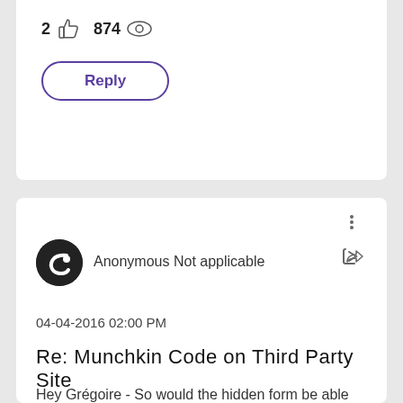2 [thumbs up] 874 [views]
Reply
Anonymous Not applicable
04-04-2016 02:00 PM
Re: Munchkin Code on Third Party Site
Hey Grégoire - So would the hidden form be able